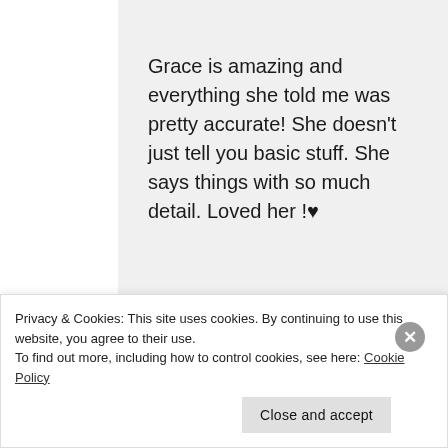Grace is amazing and everything she told me was pretty accurate! She doesn't just tell you basic stuff. She says things with so much detail. Loved her !♥
★ Liked by 1 person
SEPTEMBER 13, 2018 AT 3:09 AM
Privacy & Cookies: This site uses cookies. By continuing to use this website, you agree to their use. To find out more, including how to control cookies, see here: Cookie Policy
Close and accept